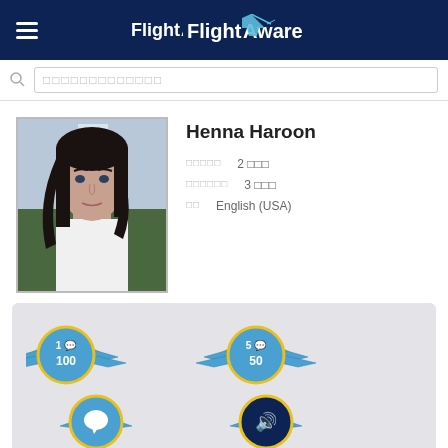FlightAware
Search bar placeholder
[Figure (photo): Profile photo of Henna Haroon, a young woman with long dark hair wearing a green blazer, in an office setting]
Henna Haroon
□□□□□   2 □□□
□□□□□□   3 □□□
□□   English (USA)
[Figure (infographic): Four FlightAware achievement badges with wings: badge showing 1 and 100, badge showing 5 and 50, speech bubble badge, and audio/speaker badge]